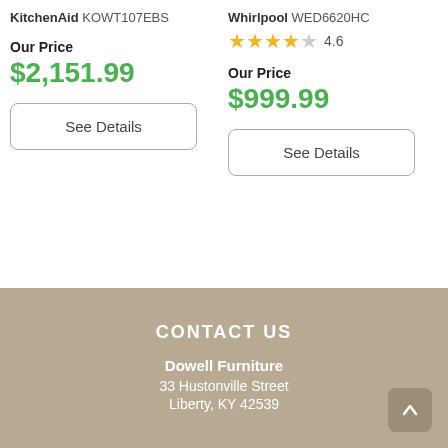KitchenAid KOWT107EBS
Our Price
$2,151.99
See Details
Whirlpool WED6620HC
4.6
Our Price
$999.99
See Details
CONTACT US
Dowell Furniture
33 Hustonville Street
Liberty, KY 42539